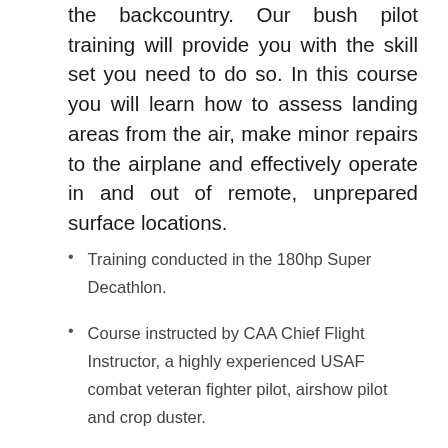the backcountry. Our bush pilot training will provide you with the skill set you need to do so. In this course you will learn how to assess landing areas from the air, make minor repairs to the airplane and effectively operate in and out of remote, unprepared surface locations.
Training conducted in the 180hp Super Decathlon.
Course instructed by CAA Chief Flight Instructor, a highly experienced USAF combat veteran fighter pilot, airshow pilot and crop duster.